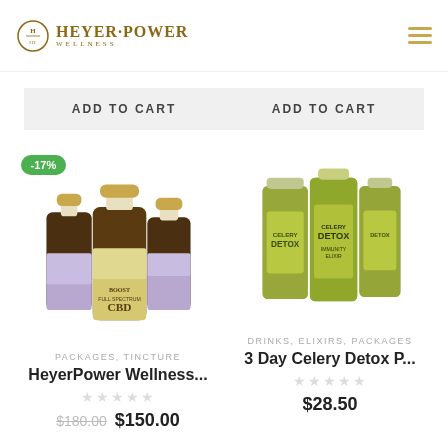[Figure (logo): Heyer Power Wellness logo with circular emblem and gold text]
ADD TO CART
ADD TO CART
[Figure (photo): CBD tincture bottles with gold caps labeled BOOST Full Spectrum CBD, with -17% discount badge]
[Figure (photo): Green juice bottles labeled Celery Detox Immunity Elixir]
PACKAGES, TINCTURE
HeyerPower Wellness...
DRINKS, ELIXIRS, PACKAGES
3 Day Celery Detox P...
$180.00 $150.00
$28.50